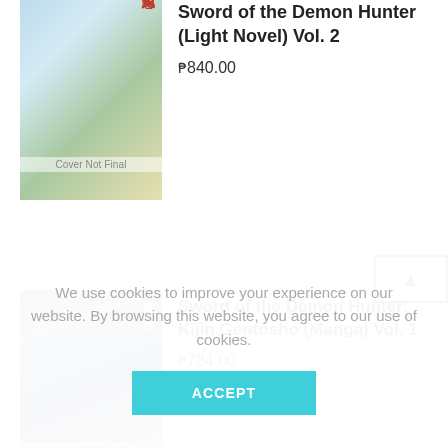Sword of the Demon Hunter (Light Novel) Vol. 2
₱840.00
Sword of the Demon Hunter: Kijin Gentosho (Manga) Vol. 1
₱784.00
We use cookies to improve your experience on our website. By browsing this website, you agree to our use of cookies.
ACCEPT